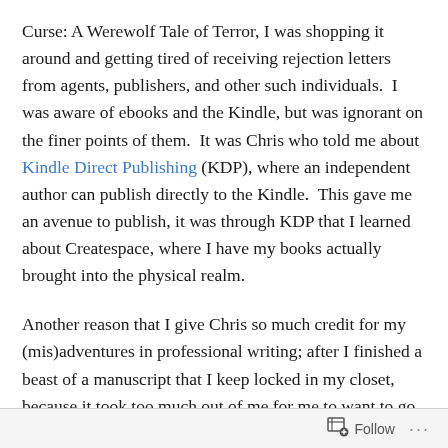Curse: A Werewolf Tale of Terror, I was shopping it around and getting tired of receiving rejection letters from agents, publishers, and other such individuals.  I was aware of ebooks and the Kindle, but was ignorant on the finer points of them.  It was Chris who told me about Kindle Direct Publishing (KDP), where an independent author can publish directly to the Kindle.  This gave me an avenue to publish, it was through KDP that I learned about Createspace, where I have my books actually brought into the physical realm.
Another reason that I give Chris so much credit for my (mis)adventures in professional writing; after I finished a beast of a manuscript that I keep locked in my closet, because it took too much out of me for me to want to go
Follow